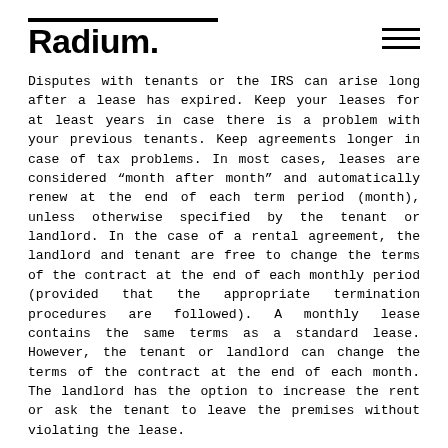Radium.
Disputes with tenants or the IRS can arise long after a lease has expired. Keep your leases for at least years in case there is a problem with your previous tenants. Keep agreements longer in case of tax problems. In most cases, leases are considered “month after month” and automatically renew at the end of each term period (month), unless otherwise specified by the tenant or landlord. In the case of a rental agreement, the landlord and tenant are free to change the terms of the contract at the end of each monthly period (provided that the appropriate termination procedures are followed). A monthly lease contains the same terms as a standard lease. However, the tenant or landlord can change the terms of the contract at the end of each month. The landlord has the option to increase the rent or ask the tenant to leave the premises without violating the lease.
However, a landlord must comply with a reasonable notice period of 30 days before asking the tenant to leave the property. Leases are very similar to leases. The biggest difference between a lease and a lease is the...